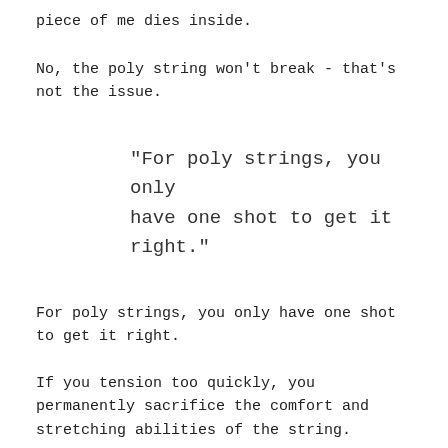piece of me dies inside.
No, the poly string won't break - that's not the issue.
"For poly strings, you only have one shot to get it right."
For poly strings, you only have one shot to get it right.
If you tension too quickly, you permanently sacrifice the comfort and stretching abilities of the string.